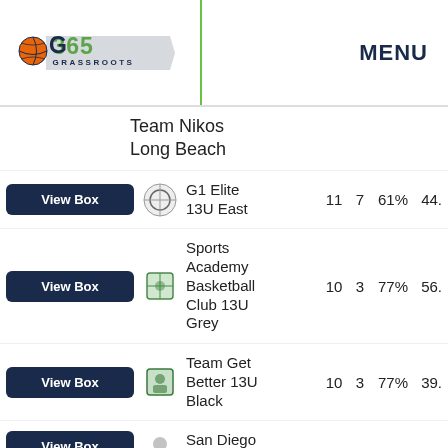[Figure (logo): G365 Grassroots basketball logo - green and navy text with basketball icon]
MENU
Team Nikos Long Beach
View Box
[Figure (logo): G1 Elite team logo badge]
G1 Elite 13U East  11  7  61%  44.
View Box
[Figure (logo): Sports Academy Basketball Club logo]
Sports Academy Basketball Club 13U Grey  10  3  77%  56.
View Box
[Figure (logo): Team Get Better logo]
Team Get Better 13U Black  10  3  77%  39.
View Box
[Figure (logo): San Diego Prospects logo]
San Diego Prospects